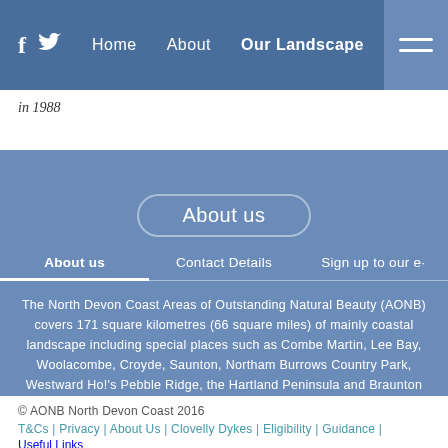f  [twitter icon]  Home  About  Our Landscape  [menu]
in 1988
About us
About us  |  Contact Details  |  Sign up to our e·
The North Devon Coast Areas of Outstanding Natural Beauty (AONB) covers 171 square kilometres (66 square miles) of mainly coastal landscape including special places such as Combe Martin, Lee Bay, Woolacombe, Croyde, Saunton, Northam Burrows Country Park, Westward Ho!'s Pebble Ridge, the Hartland Peninsula and Braunton Burrows, a UNESCO World Biosphere Reserve.
© AONB North Devon Coast 2016
T&Cs | Privacy | About Us | Clovelly Dykes | Eligibility | Guidance | Useful Links